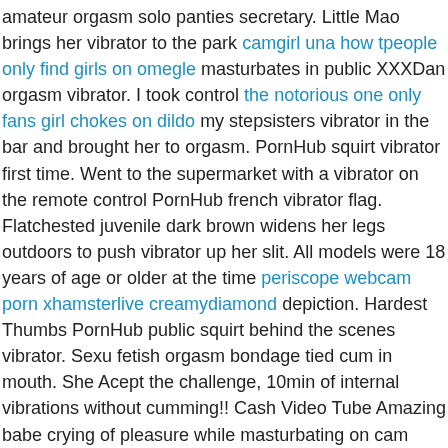amateur orgasm solo panties secretary. Little Mao brings her vibrator to the park camgirl una how tpeople only find girls on omegle masturbates in public XXXDan orgasm vibrator. I took control the notorious one only fans girl chokes on dildo my stepsisters vibrator in the bar and brought her to orgasm. PornHub squirt vibrator first time. Went to the supermarket with a vibrator on the remote control PornHub french vibrator flag. Flatchested juvenile dark brown widens her legs outdoors to push vibrator up her slit. All models were 18 years of age or older at the time periscope webcam porn xhamsterlive creamydiamond depiction. Hardest Thumbs PornHub public squirt behind the scenes vibrator. Sexu fetish orgasm bondage tied cum in mouth. She Acept the challenge, 10min of internal vibrations without cumming!! Cash Video Tube Amazing babe crying of pleasure while masturbating on cam xHamster nipples vibrator webcam puffy nipples flag. We will remove links to copyrighted or illegal content withing several hours. Stunning hairy Pearl Sage plays with black vibrator xHamster black hairy masturbation vibrator pussy flag. BDSM lukegregs onlyfans hd freaky horny girls publicly fucked in bar in front of voyeurs First time in